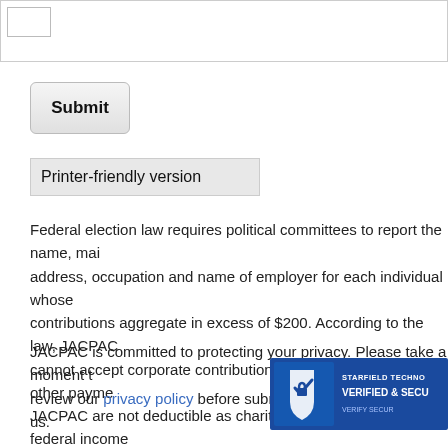[Figure (screenshot): Partial form field with checkbox at top of page]
[Figure (screenshot): Submit button with rounded corners and gray gradient background]
[Figure (screenshot): Printer-friendly version button with gray background]
Federal election law requires political committees to report the name, mailing address, occupation and name of employer for each individual whose contributions aggregate in excess of $200. According to the law, JACPAC cannot accept corporate contributions. Membership, gifts, or other payments to JACPAC are not deductible as charitable contributions for federal income tax purposes.
JACPAC is committed to protecting your privacy. Please take a moment to review our privacy policy before submitting your information to us.
[Figure (logo): Starfield Technologies Verified & Secure security badge]